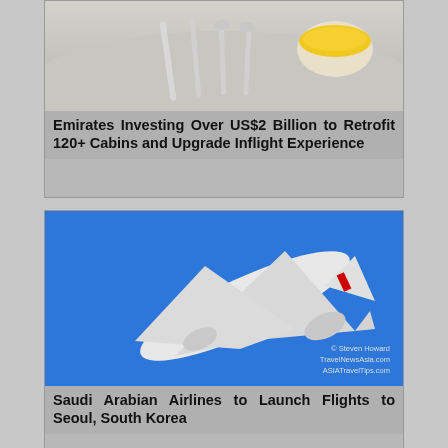[Figure (photo): Close-up photo of cutlery (knife, fork, spoons) and a bowl of yellow food on a light background, representing Emirates inflight dining]
Emirates Investing Over US$2 Billion to Retrofit 120+ Cabins and Upgrade Inflight Experience
[Figure (photo): White commercial airplane photographed from below against a bright blue sky. Watermark reads: © Steven Howard, TravelNewsAsia.com, ASIATravelTips.com]
Saudi Arabian Airlines to Launch Flights to Seoul, South Korea
[Figure (photo): Partially visible third card image at the bottom of the page]